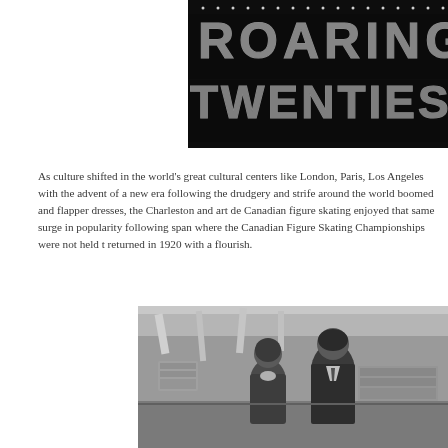[Figure (photo): Black and white marquee sign showing 'ROARING TWENTIES' in large lit block letters]
As culture shifted in the world's great cultural centers like London, Paris, Los Angeles with the advent of a new era following the drudgery and strife around the world boomed and flapper dresses, the Charleston and art de Canadian figure skating enjoyed that same surge in popularity following span where the Canadian Figure Skating Championships were not held returned in 1920 with a flourish.
[Figure (photo): Black and white photograph of two people, likely figure skaters, standing indoors]